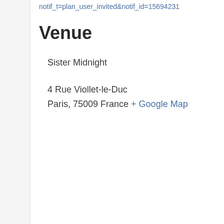notif_t=plan_user_invited&notif_id=15694231
Venue
Sister Midnight
4 Rue Viollet-le-Duc
Paris, 75009 France + Google Map